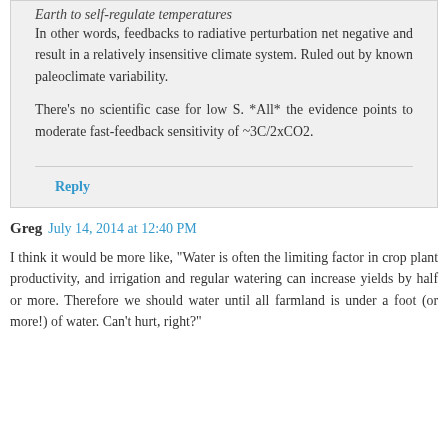Earth to self-regulate temperatures
In other words, feedbacks to radiative perturbation net negative and result in a relatively insensitive climate system. Ruled out by known paleoclimate variability.
There's no scientific case for low S. *All* the evidence points to moderate fast-feedback sensitivity of ~3C/2xCO2.
Reply
Greg July 14, 2014 at 12:40 PM
I think it would be more like, "Water is often the limiting factor in crop plant productivity, and irrigation and regular watering can increase yields by half or more. Therefore we should water until all farmland is under a foot (or more!) of water. Can't hurt, right?"